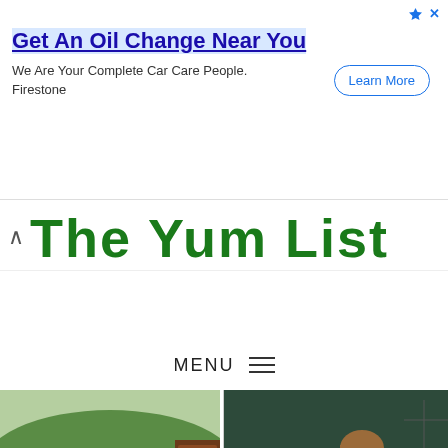[Figure (screenshot): Advertisement banner: 'Get An Oil Change Near You' by Firestone with Learn More button]
[Figure (screenshot): The Yum List website logo header partially visible, green bold text]
MENU ≡
[Figure (photo): Photo of a tropical garden/resort in Langkawi with lush greenery and a wooden door, watermark 'The Yum List']
[Figure (photo): Photo of a woman with brown hair in a black outfit posing at Jun Lim Artistic Hair Bar Estudio]
Self-contained es Langkawi
Jun Lim, Artistic Hair Bar Estudio